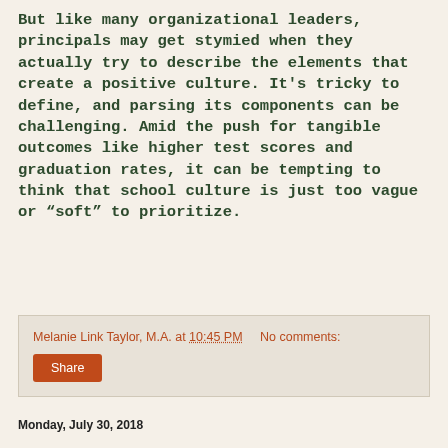But like many organizational leaders, principals may get stymied when they actually try to describe the elements that create a positive culture. It's tricky to define, and parsing its components can be challenging. Amid the push for tangible outcomes like higher test scores and graduation rates, it can be tempting to think that school culture is just too vague or “soft” to prioritize.
Melanie Link Taylor, M.A. at 10:45 PM    No comments:
Share
Monday, July 30, 2018